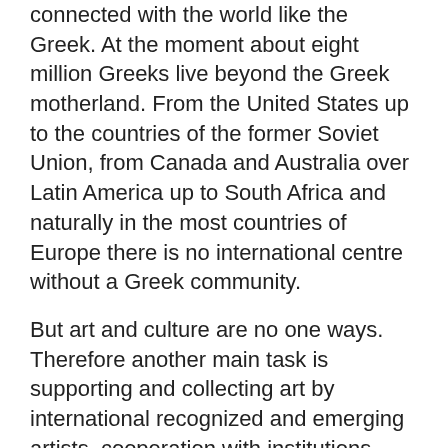connected with the world like the Greek. At the moment about eight million Greeks live beyond the Greek motherland. From the United States up to the countries of the former Soviet Union, from Canada and Australia over Latin America up to South Africa and naturally in the most countries of Europe there is no international centre without a Greek community.
But art and culture are no one ways. Therefore another main task is supporting and collecting art by international recognized and emerging artists, cooperation with institutions, projects and collectors and all who are involved seriously in the liberty of cultures. Artforum Culture Foundation wants to maintain the cultural dialogue and the artistic exchange over all borders in the conviction, that this serves the reciprocal understanding and the tolerance between the nations. That's the reason why the foundation gets on, primarily, as an international institution. It corresponds to the basic task to deliver contributions for cultural authenticity and against cultural uniformity.
Artforum Culture Foundation is respecting the values of